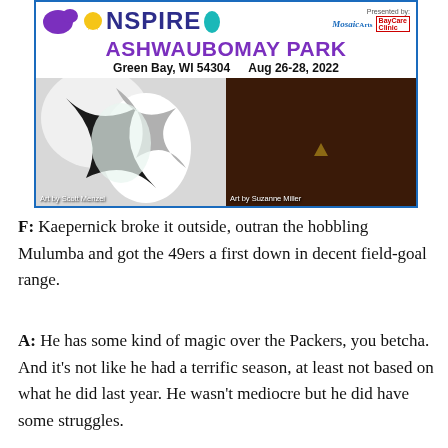[Figure (illustration): Event banner for Inspire art festival at Ashwaubomay Park, Green Bay, WI 54304, Aug 26-28, 2022. Presented by Mosaic Arts and BayCare Clinic. Shows two artwork images: abstract white/black art by Scott Menzel (left) and steampunk owl sculpture by Suzanne Miller (right).]
F: Kaepernick broke it outside, outran the hobbling Mulumba and got the 49ers a first down in decent field-goal range.
A: He has some kind of magic over the Packers, you betcha. And it's not like he had a terrific season, at least not based on what he did last year. He wasn't mediocre but he did have some struggles.